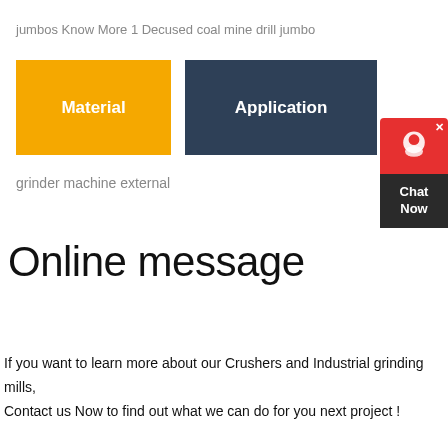jumbos Know More 1 Decused coal mine drill jumbo
Material
Application
grinder machine external
Online message
If you want to learn more about our Crushers and Industrial grinding mills,
Contact us Now to find out what we can do for you next project !